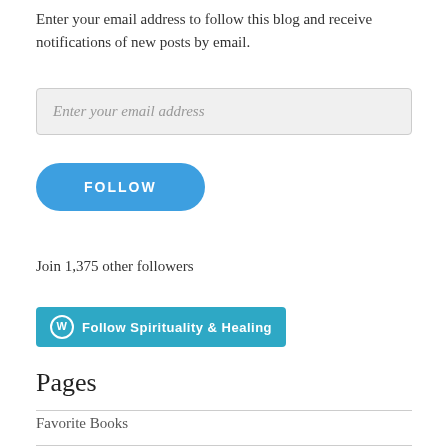Enter your email address to follow this blog and receive notifications of new posts by email.
[Figure (other): Email input field with placeholder text 'Enter your email address']
[Figure (other): Blue rounded FOLLOW button]
Join 1,375 other followers
[Figure (other): WordPress Follow button: 'Follow Spirituality & Healing']
Pages
Favorite Books
Photography